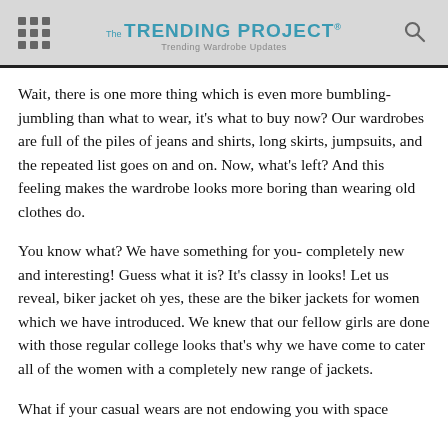The Trending Project — Trending Wardrobe Updates
Wait, there is one more thing which is even more bumbling-jumbling than what to wear, it's what to buy now? Our wardrobes are full of the piles of jeans and shirts, long skirts, jumpsuits, and the repeated list goes on and on. Now, what's left? And this feeling makes the wardrobe looks more boring than wearing old clothes do.
You know what? We have something for you- completely new and interesting! Guess what it is? It's classy in looks! Let us reveal, biker jacket oh yes, these are the biker jackets for women which we have introduced. We knew that our fellow girls are done with those regular college looks that's why we have come to cater all of the women with a completely new range of jackets.
What if your casual wears are not endowing you with space